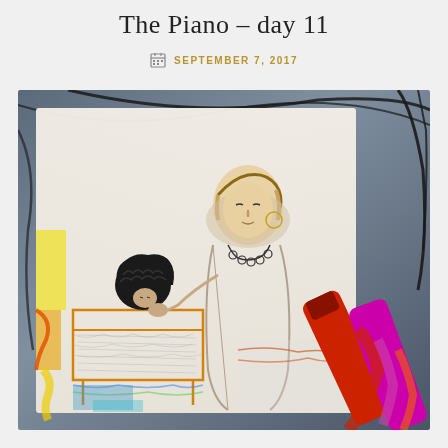The Piano – day 11
SEPTEMBER 7, 2017
[Figure (illustration): A sketch/illustration showing two figures at a piano — one seated with curly dark hair, another standing wearing a headscarf and necklace, drawn in pencil with colorful marker accents. Real colored markers/pencils are visible in the bottom right corner of the photo, suggesting the drawing is photographed on a desk.]